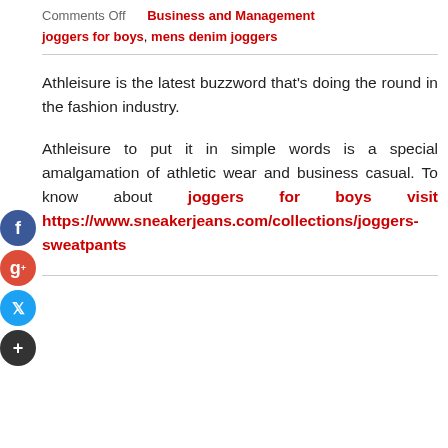Comments Off   Business and Management
joggers for boys, mens denim joggers
Athleisure is the latest buzzword that's doing the round in the fashion industry.
Athleisure to put it in simple words is a special amalgamation of athletic wear and business casual. To know about joggers for boys visit https://www.sneakerjeans.com/collections/joggers-sweatpants